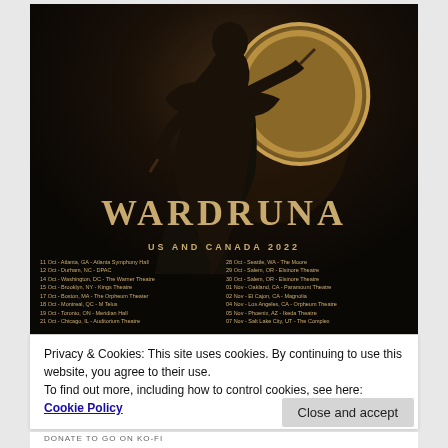[Figure (photo): Dark promotional poster for Wardruna's US and Canada 2022 tour. Features a musician playing a large frame drum against a dark background. The band name WARDRUNA appears in large golden/tan ornate letters, with 'US AND CANADA 2022' below. Tour dates are listed in two columns in gold text.]
Privacy & Cookies: This site uses cookies. By continuing to use this website, you agree to their use.
To find out more, including how to control cookies, see here: Cookie Policy
Close and accept
DONATE TO GO ON KO-FI